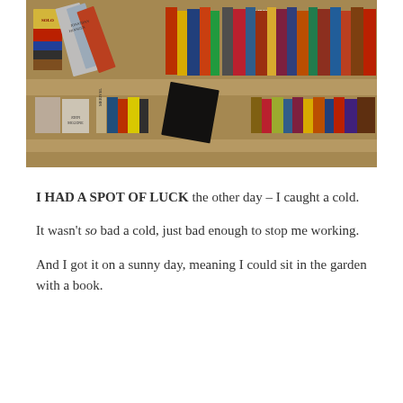[Figure (photo): Photo of a wooden bookshelf filled with many books of various colors and sizes, viewed at an angle. Visible titles include SOLO, JONATHAN FRANZEN, PHILIP KERR, and others.]
I HAD A SPOT OF LUCK the other day – I caught a cold.
It wasn't so bad a cold, just bad enough to stop me working.
And I got it on a sunny day, meaning I could sit in the garden with a book.